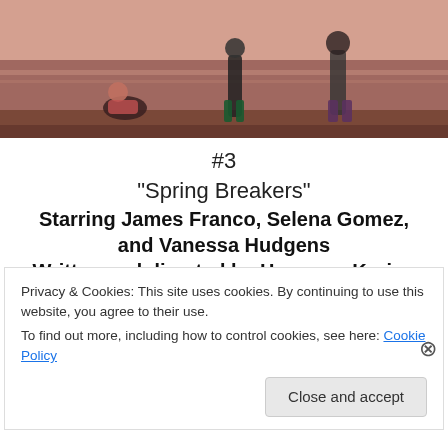[Figure (photo): Top portion of a photo showing people at what appears to be a beach or waterfront at dusk/sunset, with silhouetted figures standing and sitting]
#3
“Spring Breakers”
Starring James Franco, Selena Gomez, and Vanessa Hudgens
Written and directed by Harmony Korine
[Figure (illustration): Apply button (blue rounded rectangle) and circular avatar photo of a person on the right]
Privacy & Cookies: This site uses cookies. By continuing to use this website, you agree to their use.
To find out more, including how to control cookies, see here: Cookie Policy